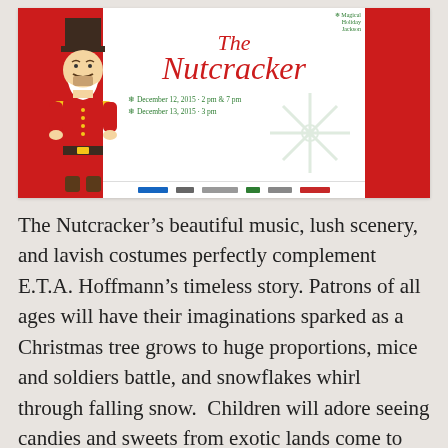[Figure (illustration): Event poster for 'The Nutcracker' ballet. Red panels on left and right sides with white center. Features a cartoon nutcracker soldier figure on the left side. Title reads 'The Nutcracker' in red italic script. Dates listed: December 12, 2015 - 2 pm & 7 pm; December 13, 2015 - 3 pm. Small green snowflake logo with 'Magical Holiday Jackson' text in top right. Sponsor logos along the bottom.]
The Nutcracker's beautiful music, lush scenery, and lavish costumes perfectly complement E.T.A. Hoffmann's timeless story. Patrons of all ages will have their imaginations sparked as a Christmas tree grows to huge proportions, mice and soldiers battle, and snowflakes whirl through falling snow.  Children will adore seeing candies and sweets from exotic lands come to life, and they will especially enjoy the gigantic